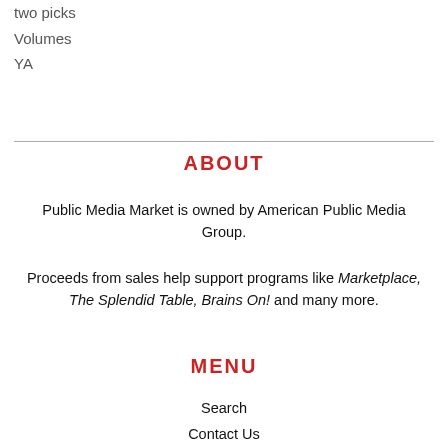two picks
Volumes
YA
ABOUT
Public Media Market is owned by American Public Media Group.
Proceeds from sales help support programs like Marketplace, The Splendid Table, Brains On! and many more.
MENU
Search
Contact Us
Shipping and Returns